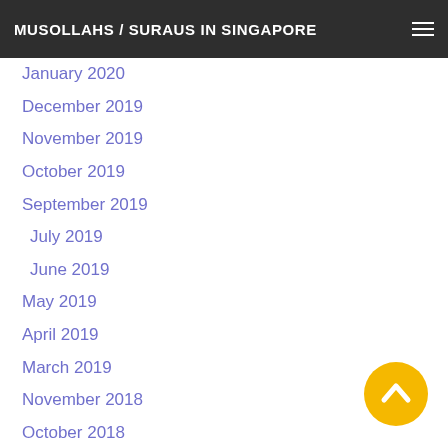MUSOLLAHS / SURAUS IN SINGAPORE
January 2020
December 2019
November 2019
October 2019
September 2019
July 2019
June 2019
May 2019
April 2019
March 2019
November 2018
October 2018
September 2018
June 2018
May 2018
January 2018
September 2017
[Figure (illustration): Yellow circular back-to-top button with upward chevron arrow]